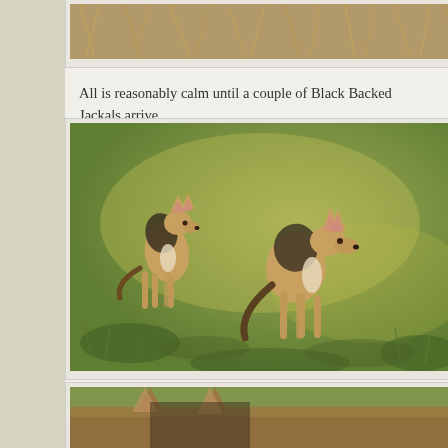[Figure (photo): Top portion of a wildlife photo showing dry savanna grass, partially cropped at page top]
All is reasonably calm until a couple of Black Backed Jackals arrive.
[Figure (photo): Two Black Backed Jackals standing on green grass savanna, photographed in golden light. One smaller jackal on the left, one larger on the right.]
[Figure (photo): Partial photo at bottom showing close-up of a jackal, ears visible at top of frame]